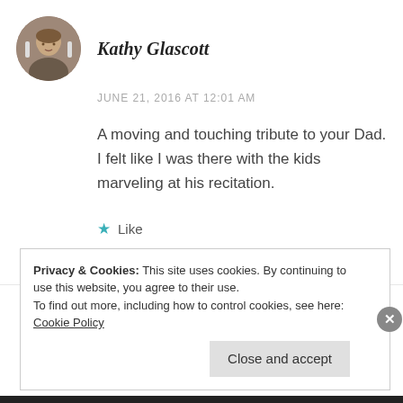Kathy Glascott
JUNE 21, 2016 AT 12:01 AM
A moving and touching tribute to your Dad. I felt like I was there with the kids marveling at his recitation.
★ Like
REPLY
Privacy & Cookies: This site uses cookies. By continuing to use this website, you agree to their use.
To find out more, including how to control cookies, see here: Cookie Policy
Close and accept